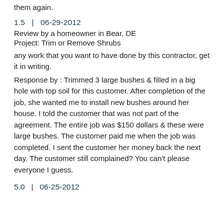them again.
1.5   |   06-29-2012
Review by a homeowner in Bear, DE
Project: Trim or Remove Shrubs
any work that you want to have done by this contractor, get it in writing.
Response by : Trimmed 3 large bushes & filled in a big hole with top soil for this customer. After completion of the job, she wanted me to install new bushes around her house. I told the customer that was not part of the agreement. The entire job was $150 dollars & these were large bushes. The customer paid me when the job was completed. I sent the customer her money back the next day. The customer still complained? You can't please everyone I guess.
5.0   |   06-25-2012